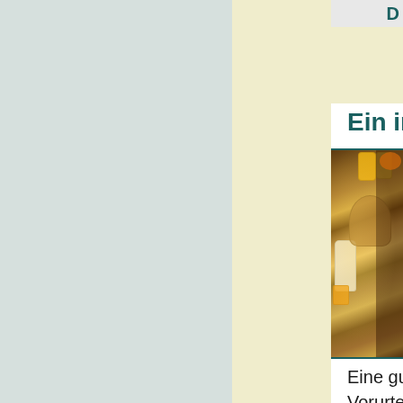Ein internationales B
[Figure (photo): A breakfast buffet spread on a rustic wooden table with baskets of bread rolls, jars of jam and juice, a pitcher of milk, plates of cold cuts and cheese, fresh fruits and flowers, displayed in warm natural lighting.]
Eine gute Idee zur Überwi Vorurteils: ein internationales B